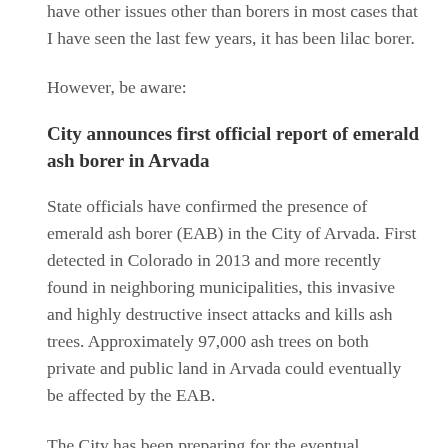have other issues other than borers in most cases that I have seen the last few years, it has been lilac borer.
However, be aware:
City announces first official report of emerald ash borer in Arvada
State officials have confirmed the presence of emerald ash borer (EAB) in the City of Arvada. First detected in Colorado in 2013 and more recently found in neighboring municipalities, this invasive and highly destructive insect attacks and kills ash trees. Approximately 97,000 ash trees on both private and public land in Arvada could eventually be affected by the EAB.
The City has been preparing for the eventual infestation of EAB well ahead of its official arrival. During the last several years, forestry staff have